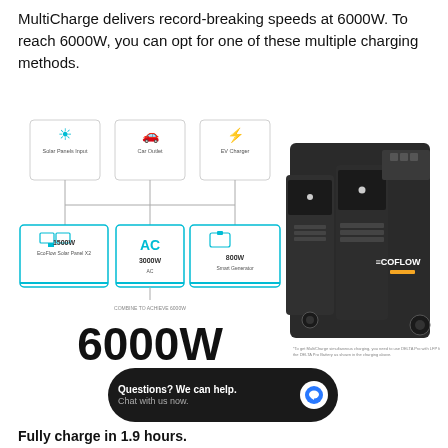MultiCharge delivers record-breaking speeds at 6000W. To reach 6000W, you can opt for one of these multiple charging methods.
[Figure (infographic): Diagram showing MultiCharge charging methods: Input sources (Solar Panels, Car Outlet, EV Charger) and charging options (Solar 1500W/EcoFlow Solar Panel X2, AC 3000W/AC, Smart Generator 800W/Smart Generator) combining to 6000W total. Alongside an EcoFlow branded portable power station product photo.]
[Figure (other): Chat widget: dark pill-shaped button reading 'Questions? We can help. Chat with us now.' with a blue speech bubble icon on the right.]
Fully charge in 1.9 hours.